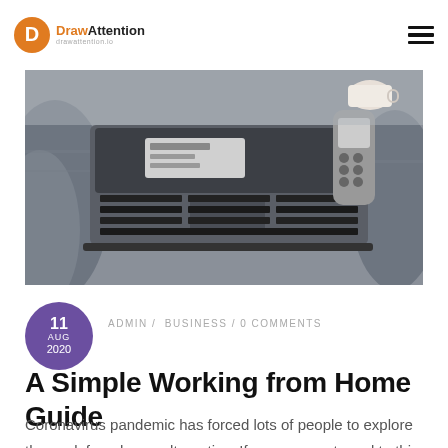DrawAttention — navigation bar with logo and hamburger menu
[Figure (photo): Overhead view of a laptop computer with keyboard visible, placed on a grey blanket/couch, with a TV remote control beside it]
11 AUG 2020
ADMIN / BUSINESS / 0 COMMENTS
A Simple Working from Home Guide
Coronavirus pandemic has forced lots of people to explore the work from home alternative. If you were not used to this kind of work, it may take a little time to adapt to it. With the correct mindset, you can